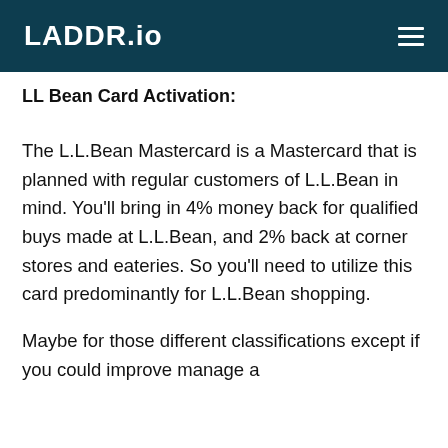LADDR.io
LL Bean Card Activation:
The L.L.Bean Mastercard is a Mastercard that is planned with regular customers of L.L.Bean in mind. You’ll bring in 4% money back for qualified buys made at L.L.Bean, and 2% back at corner stores and eateries. So you’ll need to utilize this card predominantly for L.L.Bean shopping.
Maybe for those different classifications except if you could improve manage a